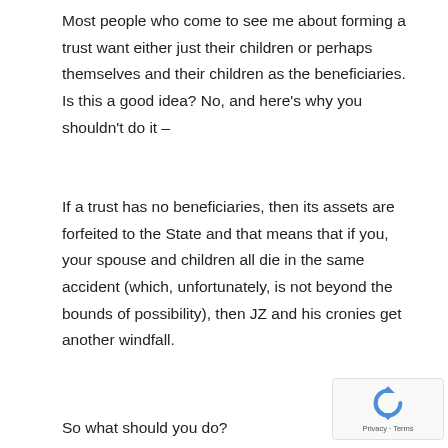Most people who come to see me about forming a trust want either just their children or perhaps themselves and their children as the beneficiaries. Is this a good idea? No, and here's why you shouldn't do it –
If a trust has no beneficiaries, then its assets are forfeited to the State and that means that if you, your spouse and children all die in the same accident (which, unfortunately, is not beyond the bounds of possibility), then JZ and his cronies get another windfall.
So what should you do?